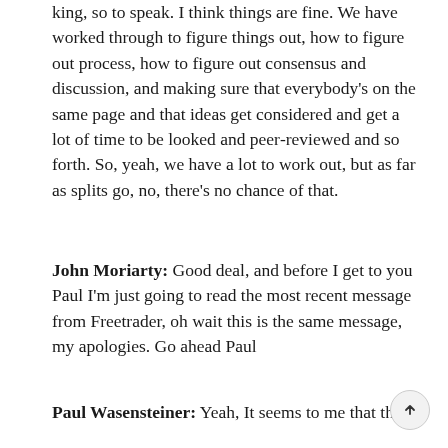king, so to speak. I think things are fine. We have worked through to figure things out, how to figure out process, how to figure out consensus and discussion, and making sure that everybody's on the same page and that ideas get considered and get a lot of time to be looked and peer-reviewed and so forth. So, yeah, we have a lot to work out, but as far as splits go, no, there's no chance of that.
John Moriarty: Good deal, and before I get to you Paul I'm just going to read the most recent message from Freetrader, oh wait this is the same message, my apologies. Go ahead Paul
Paul Wasensteiner: Yeah, It seems to me that the